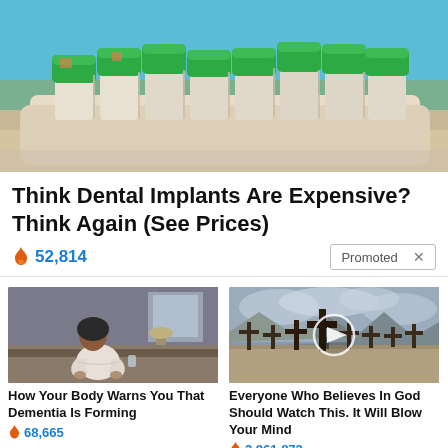[Figure (photo): Close-up photo of dental implant model with green caps on the implants, beige/cream colored dental arch base, on a light surface with blue background]
Think Dental Implants Are Expensive? Think Again (See Prices)
🔥 52,814
Promoted ×
[Figure (photo): Photo of an elderly person sitting on a bed in a dimly lit room, hunched over]
How Your Body Warns You That Dementia Is Forming
🔥 68,665
[Figure (photo): Photo of crosses/grave markers in an arid landscape with cloudy sky, with a play button overlay]
Everyone Who Believes In God Should Watch This. It Will Blow Your Mind
🔥 2,861,872